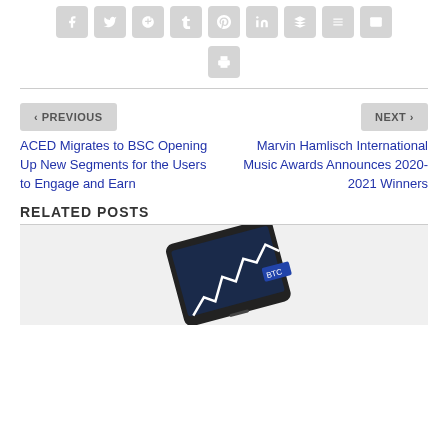[Figure (other): Social media sharing icons: Facebook, Twitter, Google+, Tumblr, Pinterest, LinkedIn, Buffer, StumbleUpon, Email, Print]
< PREVIOUS
NEXT >
ACED Migrates to BSC Opening Up New Segments for the Users to Engage and Earn
Marvin Hamlisch International Music Awards Announces 2020-2021 Winners
RELATED POSTS
[Figure (photo): Smartphone displaying a Bitcoin price chart with BTC label visible]